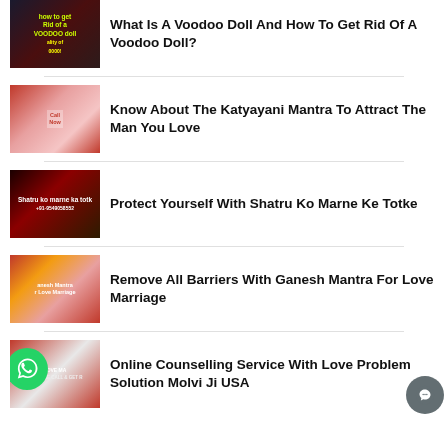[Figure (photo): Thumbnail image for voodoo doll article with dark background and text overlay]
What Is A Voodoo Doll And How To Get Rid Of A Voodoo Doll?
[Figure (photo): Thumbnail image showing couple for Katyayani Mantra article]
Know About The Katyayani Mantra To Attract The Man You Love
[Figure (photo): Thumbnail image with dark background for Shatru Ko Marne Ke Totke article]
Protect Yourself With Shatru Ko Marne Ke Totke
[Figure (photo): Thumbnail image showing Indian wedding couple for Ganesh Mantra article]
Remove All Barriers With Ganesh Mantra For Love Marriage
[Figure (photo): Thumbnail image for Online Counselling Service article with WhatsApp button overlay]
Online Counselling Service With Love Problem Solution Molvi Ji USA